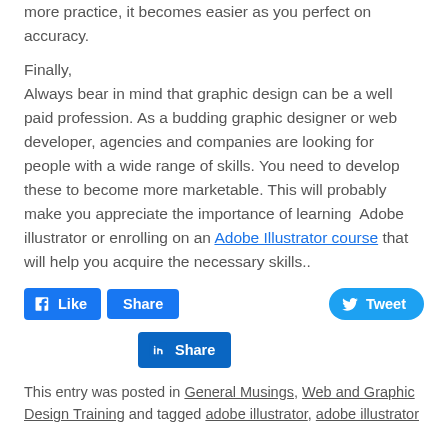more practice, it becomes easier as you perfect on accuracy.
Finally,
Always bear in mind that graphic design can be a well paid profession. As a budding graphic designer or web developer, agencies and companies are looking for people with a wide range of skills. You need to develop these to become more marketable. This will probably make you appreciate the importance of learning  Adobe illustrator or enrolling on an Adobe Illustrator course that will help you acquire the necessary skills..
[Figure (other): Facebook Like and Share buttons, Twitter Tweet button, LinkedIn Share button]
This entry was posted in General Musings, Web and Graphic Design Training and tagged adobe illustrator, adobe illustrator course